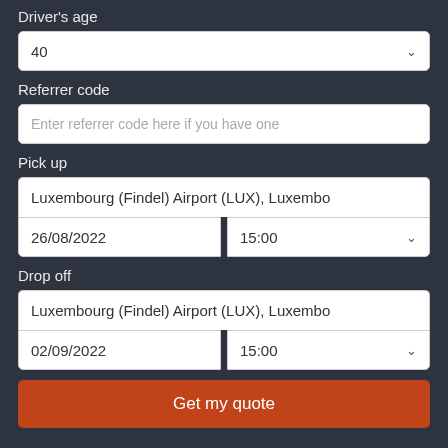Driver's age
40
Referrer code
Enter referrer code here if you have one
Pick up
Luxembourg (Findel) Airport (LUX), Luxembo
26/08/2022
15:00
Drop off
Luxembourg (Findel) Airport (LUX), Luxembo
02/09/2022
15:00
Get my quote